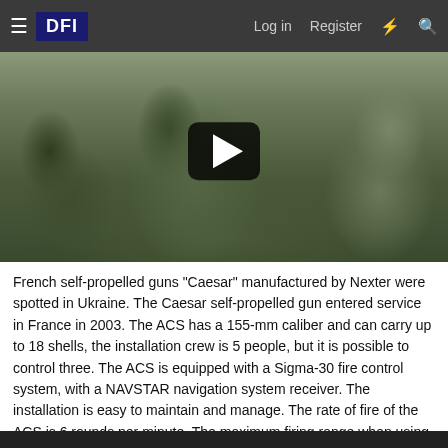≡ DFI   Log in   Register
[Figure (photo): Video thumbnail showing military personnel in camouflage uniforms with a play button overlay, depicting French Caesar self-propelled gun crew in Ukraine]
French self-propelled guns "Caesar" manufactured by Nexter were spotted in Ukraine. The Caesar self-propelled gun entered service in France in 2003. The ACS has a 155-mm caliber and can carry up to 18 shells, the installation crew is 5 people, but it is possible to control three. The ACS is equipped with a Sigma-30 fire control system, with a NAVSTAR navigation system receiver. The installation is easy to maintain and manage. The rate of fire of the ACS is 6 rounds per minute. The maximum firing range when using active-reactive ammunition is 42 km.